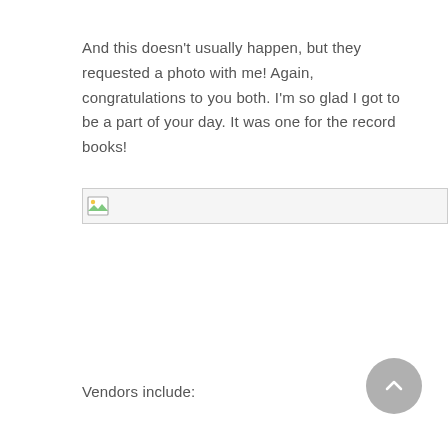And this doesn't usually happen, but they requested a photo with me!  Again, congratulations to you both.  I'm so glad I got to be a part of your day.  It was one for the record books!
[Figure (photo): A partially loaded or broken image placeholder icon, shown as a small thumbnail with a landscape icon, within a bordered rectangle.]
Vendors include: